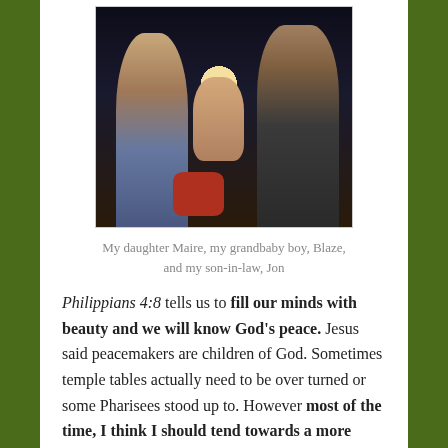[Figure (photo): A nighttime photo of a woman (Maire) holding a birthday cake with a candle, a baby boy (Blaze) in the center, and a man (Jon) on the right, outdoors.]
My daughter Maire, my grandbaby boy, Blaze, and my son-in-law, Jon
Philippians 4:8 tells us to fill our minds with beauty and we will know God's peace. Jesus said peacemakers are children of God. Sometimes temple tables actually need to be over turned or some Pharisees stood up to. However most of the time, I think I should tend towards a more peaceful, elastic, accepting mind that God can work with. My brain